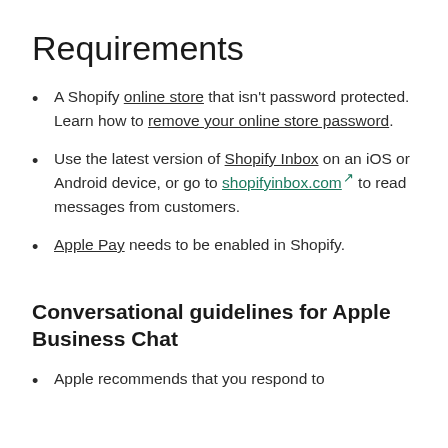Requirements
A Shopify online store that isn't password protected. Learn how to remove your online store password.
Use the latest version of Shopify Inbox on an iOS or Android device, or go to shopifyinbox.com to read messages from customers.
Apple Pay needs to be enabled in Shopify.
Conversational guidelines for Apple Business Chat
Apple recommends that you respond to